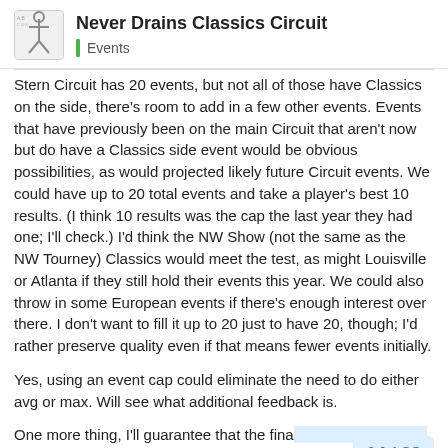Never Drains Classics Circuit
Stern Circuit has 20 events, but not all of those have Classics on the side, there's room to add in a few other events. Events that have previously been on the main Circuit that aren't now but do have a Classics side event would be obvious possibilities, as would projected likely future Circuit events. We could have up to 20 total events and take a player's best 10 results. (I think 10 results was the cap the last year they had one; I'll check.) I'd think the NW Show (not the same as the NW Tourney) Classics would meet the test, as might Louisville or Atlanta if they still hold their events this year. We could also throw in some European events if there's enough interest over there. I don't want to fill it up to 20 just to have 20, though; I'd rather preserve quality even if that means fewer events initially.
Yes, using an event cap could eliminate the need to do either avg or max. Will see what additional feedback is.
One more thing, I'll guarantee that the fina both dates and manufacturers. I don't plan
14 / 28